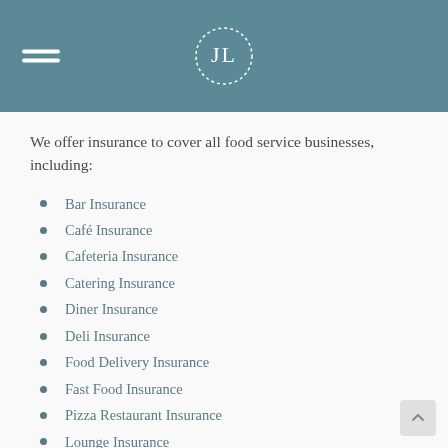Header with hamburger menu and logo
We offer insurance to cover all food service businesses, including:
Bar Insurance
Café Insurance
Cafeteria Insurance
Catering Insurance
Diner Insurance
Deli Insurance
Food Delivery Insurance
Fast Food Insurance
Pizza Restaurant Insurance
Lounge Insurance